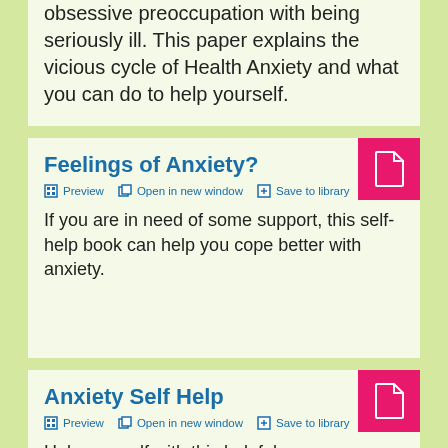obsessive preoccupation with being seriously ill. This paper explains the vicious cycle of Health Anxiety and what you can do to help yourself.
Feelings of Anxiety?
Preview  Open in new window  Save to library
If you are in need of some support, this self-help book can help you cope better with anxiety.
Anxiety Self Help
Preview  Open in new window  Save to library
Help yourself with this helpful paper on...